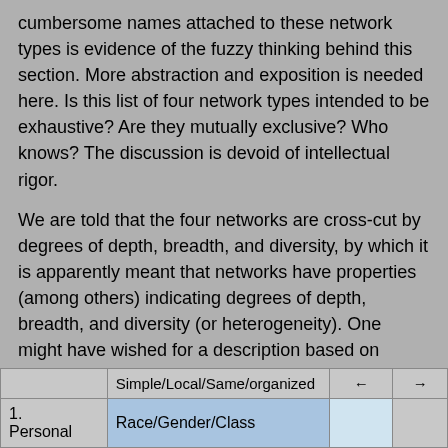cumbersome names attached to these network types is evidence of the fuzzy thinking behind this section. More abstraction and exposition is needed here. Is this list of four network types intended to be exhaustive? Are they mutually exclusive? Who knows? The discussion is devoid of intellectual rigor.
We are told that the four networks are cross-cut by degrees of depth, breadth, and diversity, by which it is apparently meant that networks have properties (among others) indicating degrees of depth, breadth, and diversity (or heterogeneity). One might have wished for a description based on mathematics, rather than carpentry.
Anyway, the reader next is confronted by this perplexing chart:
|  | Simple/Local/Same/organized | ← | → |
| --- | --- | --- | --- |
| 1.
Personal | Race/Gender/Class |  |  |